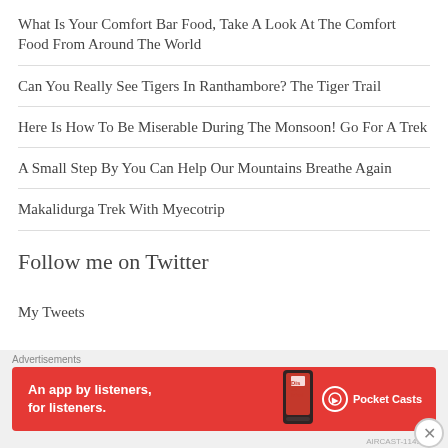What Is Your Comfort Bar Food, Take A Look At The Comfort Food From Around The World
Can You Really See Tigers In Ranthambore? The Tiger Trail
Here Is How To Be Miserable During The Monsoon! Go For A Trek
A Small Step By You Can Help Our Mountains Breathe Again
Makalidurga Trek With Myecotrip
Follow me on Twitter
My Tweets
Advertisements
[Figure (screenshot): Red Pocket Casts advertisement banner: 'An app by listeners, for listeners.' with phone image and Pocket Casts logo]